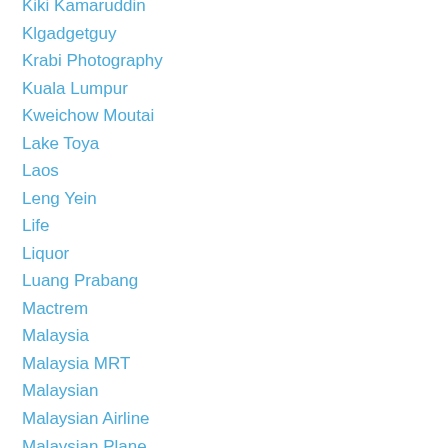Kiki Kamaruddin
Klgadgetguy
Krabi Photography
Kuala Lumpur
Kweichow Moutai
Lake Toya
Laos
Leng Yein
Life
Liquor
Luang Prabang
Mactrem
Malaysia
Malaysia MRT
Malaysian
Malaysian Airline
Malaysian Plane
Malaysian Youtubers
Mastery Academy
Max Mak